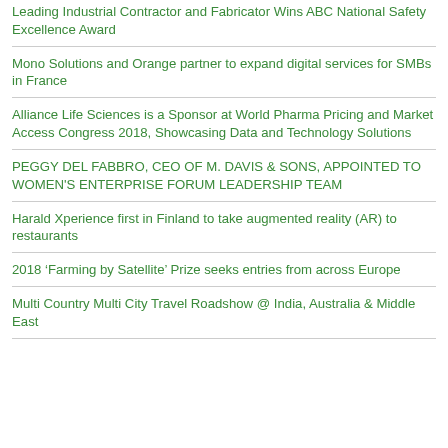Leading Industrial Contractor and Fabricator Wins ABC National Safety Excellence Award
Mono Solutions and Orange partner to expand digital services for SMBs in France
Alliance Life Sciences is a Sponsor at World Pharma Pricing and Market Access Congress 2018, Showcasing Data and Technology Solutions
PEGGY DEL FABBRO, CEO OF M. DAVIS & SONS, APPOINTED TO WOMEN'S ENTERPRISE FORUM LEADERSHIP TEAM
Harald Xperience first in Finland to take augmented reality (AR) to restaurants
2018 ‘Farming by Satellite’ Prize seeks entries from across Europe
Multi Country Multi City Travel Roadshow @ India, Australia & Middle East